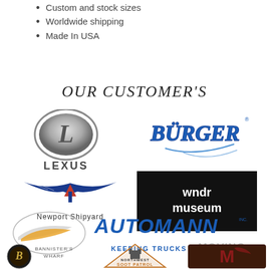font, text or your artwork
Custom and stock sizes
Worldwide shipping
Made In USA
OUR CUSTOMER'S
[Figure (logo): Lexus logo (silver oval with L emblem) and LEXUS text]
[Figure (logo): BURGER logo in blue ornate lettering with swoosh]
[Figure (logo): Newport Shipyard logo with winged anchor emblem]
[Figure (logo): wndr museum logo on black background]
[Figure (logo): AUTOMANN logo in blue with silver wing, KEEPING TRUCKS MOVING tagline]
[Figure (logo): Bannister's Wharf logo (circular dark badge with B)]
[Figure (logo): Northwest Soot Patrol logo]
[Figure (logo): University mascot logo with M and hawk]